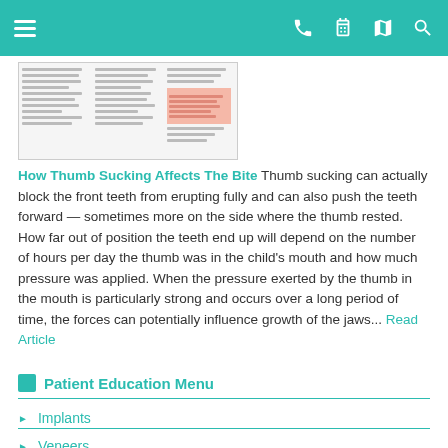Navigation bar with hamburger menu, phone, calendar, map, and search icons
[Figure (screenshot): Thumbnail preview of a dental article page with multi-column text layout and a highlighted section in pink/salmon color]
How Thumb Sucking Affects The Bite Thumb sucking can actually block the front teeth from erupting fully and can also push the teeth forward — sometimes more on the side where the thumb rested. How far out of position the teeth end up will depend on the number of hours per day the thumb was in the child's mouth and how much pressure was applied. When the pressure exerted by the thumb in the mouth is particularly strong and occurs over a long period of time, the forces can potentially influence growth of the jaws... Read Article
Patient Education Menu
Implants
Veneers